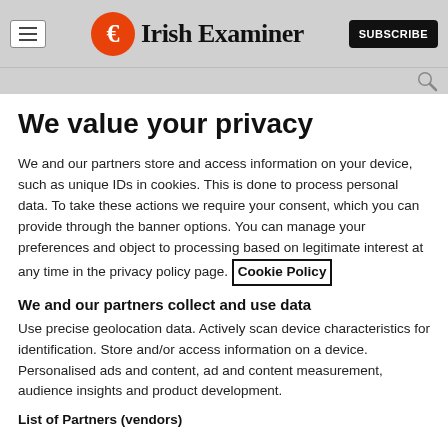Irish Examiner — SUBSCRIBE
We value your privacy
We and our partners store and access information on your device, such as unique IDs in cookies. This is done to process personal data. To take these actions we require your consent, which you can provide through the banner options. You can manage your preferences and object to processing based on legitimate interest at any time in the privacy policy page. Cookie Policy
We and our partners collect and use data
Use precise geolocation data. Actively scan device characteristics for identification. Store and/or access information on a device. Personalised ads and content, ad and content measurement, audience insights and product development.
List of Partners (vendors)